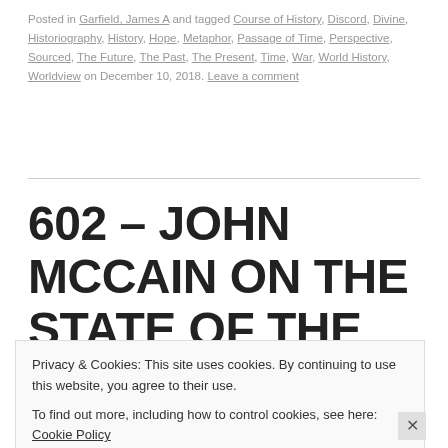Posted in Garfield, James A and tagged Course of History, Discord, Divine, Historiography, History, Hope, Metaphor, Passage of Time, Perspective, Sourced, The Future, The Past, The Present, Time, War, World History, Worldview on December 10, 2018. Leave a comment
602 – JOHN MCCAIN ON THE STATE OF THE WORLD
“The times we live in are alternately derided for their failings and
Privacy & Cookies: This site uses cookies. By continuing to use this website, you agree to their use.
To find out more, including how to control cookies, see here: Cookie Policy
Close and accept